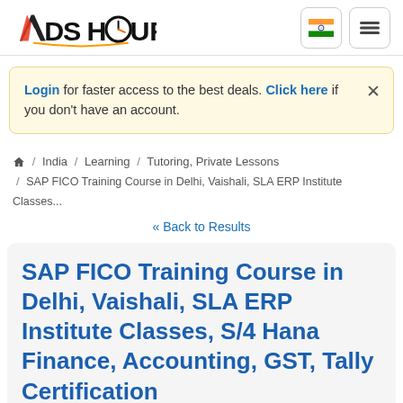[Figure (logo): AdsHour logo with orange/red A, black D, clock O in HOUR text]
Login for faster access to the best deals. Click here if you don't have an account.
🏠 / India / Learning / Tutoring, Private Lessons / SAP FICO Training Course in Delhi, Vaishali, SLA ERP Institute Classes...
« Back to Results
SAP FICO Training Course in Delhi, Vaishali, SLA ERP Institute Classes, S/4 Hana Finance, Accounting, GST, Tally Certification